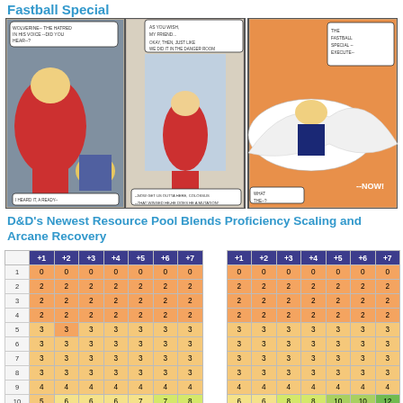Fastball Special
[Figure (illustration): Three comic book panels showing the Fastball Special maneuver: Colossus throwing Wolverine, X-Men in action, and Angel flying with Wolverine.]
D&D's Newest Resource Pool Blends Proficiency Scaling and Arcane Recovery
|   | +1 | +2 | +3 | +4 | +5 | +6 | +7 |  | +1 | +2 | +3 | +4 | +5 | +6 | +7 |
| --- | --- | --- | --- | --- | --- | --- | --- | --- | --- | --- | --- | --- | --- | --- | --- |
| 1 | 0 | 0 | 0 | 0 | 0 | 0 | 0 |  | 0 | 0 | 0 | 0 | 0 | 0 | 0 |
| 2 | 2 | 2 | 2 | 2 | 2 | 2 | 2 |  | 2 | 2 | 2 | 2 | 2 | 2 | 2 |
| 3 | 2 | 2 | 2 | 2 | 2 | 2 | 2 |  | 2 | 2 | 2 | 2 | 2 | 2 | 2 |
| 4 | 2 | 2 | 2 | 2 | 2 | 2 | 2 |  | 2 | 2 | 2 | 2 | 2 | 2 | 2 |
| 5 | 3 | 3 | 3 | 3 | 3 | 3 | 3 |  | 3 | 3 | 3 | 3 | 3 | 3 | 3 |
| 6 | 3 | 3 | 3 | 3 | 3 | 3 | 3 |  | 3 | 3 | 3 | 3 | 3 | 3 | 3 |
| 7 | 3 | 3 | 3 | 3 | 3 | 3 | 3 |  | 3 | 3 | 3 | 3 | 3 | 3 | 3 |
| 8 | 3 | 3 | 3 | 3 | 3 | 3 | 3 |  | 3 | 3 | 3 | 3 | 3 | 3 | 3 |
| 9 | 4 | 4 | 4 | 4 | 4 | 4 | 4 |  | 4 | 4 | 4 | 4 | 4 | 4 | 4 |
| 10 | 5 | 6 | 6 | 6 | 7 | 7 | 8 |  | 6 | 6 | 8 | 8 | 10 | 10 | 12 |
| 11 | 5 | 6 | 6 | 6 | 7 | 7 | 8 |  | 6 | 6 | 8 | 8 | 10 | 10 | 12 |
| 12 | 5 | 6 | 6 | 6 | 7 | 7 | 8 |  | 6 | 6 | 8 | 8 | 10 | 10 | 12 |
| 13 | 6 | 6 | 7 | 7 | 8 | 8 | 9 |  | 7 | 7 | 9 | 9 | 11 | 11 | 13 |